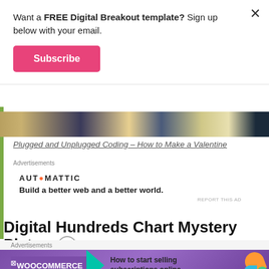Want a FREE Digital Breakout template? Sign up below with your email.
Subscribe
[Figure (photo): Partial image of what appears to be a decorative or craft project, showing gold, dark blue, and cream colored elements in a strip.]
Plugged and Unplugged Coding – How to Make a Valentine
Advertisements
AUTOMATTIC
Build a better web and a better world.
REPORT THIS AD
Digital Hundreds Chart Mystery Picture
Advertisements
[Figure (screenshot): WooCommerce advertisement: purple background with teal arrow shape and WooCommerce logo on left. Text reads 'How to start selling subscriptions online'. Decorative circles in orange, blue, and green on right side.]
REPORT THIS AD